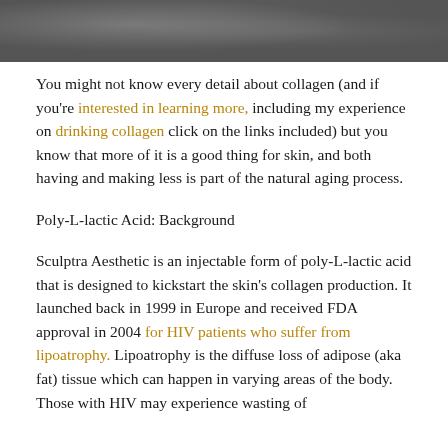[Figure (photo): Grayscale photograph strip at top of page, appearing to show a person or object in dark tones]
You might not know every detail about collagen (and if you're interested in learning more, including my experience on drinking collagen click on the links included) but you know that more of it is a good thing for skin, and both having and making less is part of the natural aging process.
Poly-L-lactic Acid: Background
Sculptra Aesthetic is an injectable form of poly-L-lactic acid that is designed to kickstart the skin's collagen production. It launched back in 1999 in Europe and received FDA approval in 2004 for HIV patients who suffer from lipoatrophy. Lipoatrophy is the diffuse loss of adipose (aka fat) tissue which can happen in varying areas of the body. Those with HIV may experience wasting of